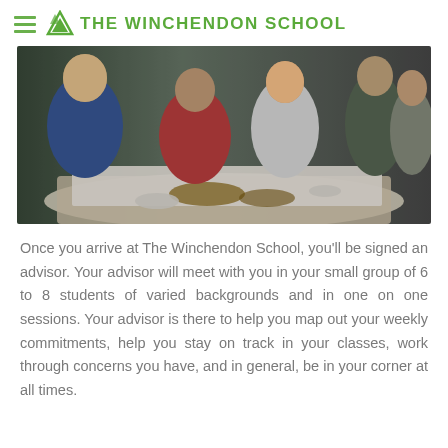THE WINCHENDON SCHOOL
[Figure (photo): Students gathered around a table eating and socializing at The Winchendon School dining event]
Once you arrive at The Winchendon School, you'll be signed an advisor. Your advisor will meet with you in your small group of 6 to 8 students of varied backgrounds and in one on one sessions. Your advisor is there to help you map out your weekly commitments, help you stay on track in your classes, work through concerns you have, and in general, be in your corner at all times.